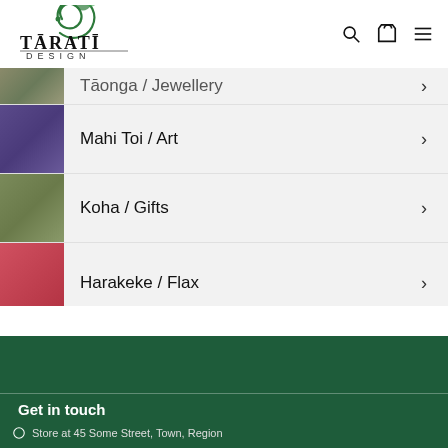[Figure (logo): Tarati Design logo with green koru/spiral decorative element above stylized text 'TARATI' with macron on I, and 'DESIGN' below in spaced capitals]
Tāonga / Jewellery
Mahi Toi / Art
Koha / Gifts
Harakeke / Flax
Kākahu / Clothing
Karāhe / Glass
Get in touch